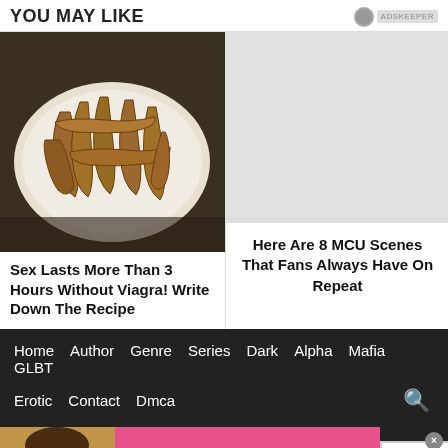YOU MAY LIKE
[Figure (photo): Photo of brown curved food items (seeds/pods) on a white plate on a dark surface]
Sex Lasts More Than 3 Hours Without Viagra! Write Down The Recipe
[Figure (photo): Gray placeholder area above MCU text]
Here Are 8 MCU Scenes That Fans Always Have On Repeat
Home  Author  Genre  Series  Dark  Alpha  Mafia  GLBT  Erotic  Contact  Dmca
[Figure (photo): Victoria's Secret advertisement banner with model, VS logo, SHOP THE COLLECTION text, and SHOP NOW button]